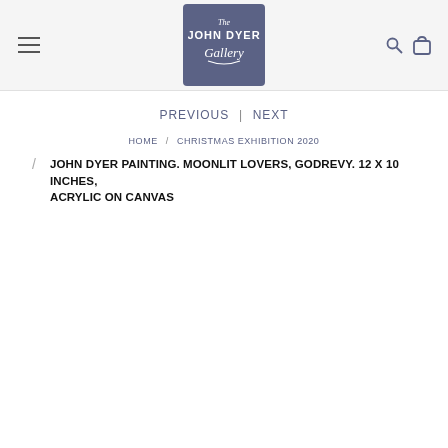[Figure (logo): The John Dyer Gallery logo — white handwritten-style text on dark navy/slate blue square background]
PREVIOUS | NEXT
HOME / CHRISTMAS EXHIBITION 2020
JOHN DYER PAINTING. MOONLIT LOVERS, GODREVY. 12 X 10 INCHES, ACRYLIC ON CANVAS